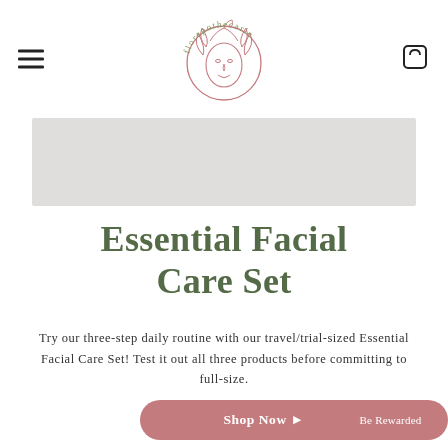[Figure (logo): Florapothecarie logo — circular illustration of a woman's face surrounded by leaves and botanicals, with the brand name 'florapothecarie' in green text arcing around the circle]
[Figure (photo): Gray rectangular product image placeholder]
Essential Facial Care Set
Try our three-step daily routine with our travel/trial-sized Essential Facial Care Set! Test it out all three products before committing to full-size.
Shop Now ▶
Be Rewarded